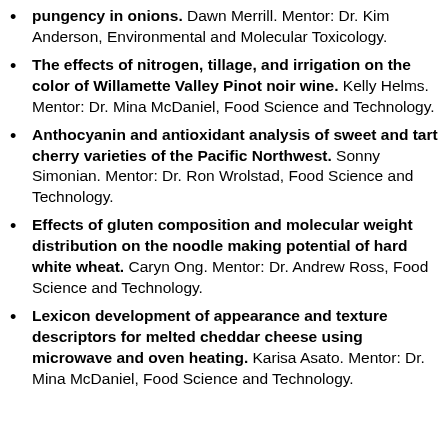pungency in onions. Dawn Merrill. Mentor: Dr. Kim Anderson, Environmental and Molecular Toxicology.
The effects of nitrogen, tillage, and irrigation on the color of Willamette Valley Pinot noir wine. Kelly Helms. Mentor: Dr. Mina McDaniel, Food Science and Technology.
Anthocyanin and antioxidant analysis of sweet and tart cherry varieties of the Pacific Northwest. Sonny Simonian. Mentor: Dr. Ron Wrolstad, Food Science and Technology.
Effects of gluten composition and molecular weight distribution on the noodle making potential of hard white wheat. Caryn Ong. Mentor: Dr. Andrew Ross, Food Science and Technology.
Lexicon development of appearance and texture descriptors for melted cheddar cheese using microwave and oven heating. Karisa Asato. Mentor: Dr. Mina McDaniel, Food Science and Technology.